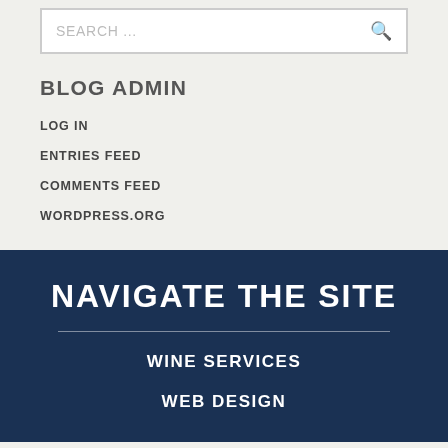SEARCH ...
BLOG ADMIN
LOG IN
ENTRIES FEED
COMMENTS FEED
WORDPRESS.ORG
NAVIGATE THE SITE
WINE SERVICES
WEB DESIGN